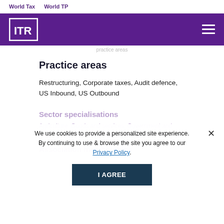World Tax   World TP
[Figure (logo): ITR logo on purple background header bar with hamburger menu icon]
practice areas (partial, cropped)
Practice areas
Restructuring, Corporate taxes, Audit defence, US Inbound, US Outbound
Sector specialisations
Agriculture, Goods and services, Government and public policy, Pharma and life sciences, and telecoms
Association memberships
We use cookies to provide a personalized site experience. By continuing to use & browse the site you agree to our Privacy Policy.
I AGREE